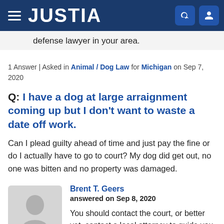JUSTIA
defense lawyer in your area.
1 Answer | Asked in Animal / Dog Law for Michigan on Sep 7, 2020
Q: I have a dog at large arraignment coming up but I don't want to waste a date off work.
Can I plead guilty ahead of time and just pay the fine or do I actually have to go to court? My dog did get out, no one was bitten and no property was damaged.
Brent T. Geers
answered on Sep 8, 2020
You should contact the court, or better yet, contact a local attorney to guide you